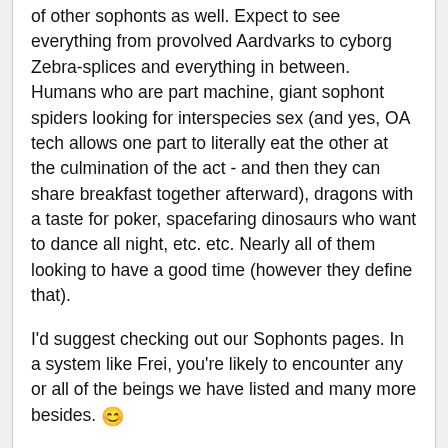of other sophonts as well. Expect to see everything from provolved Aardvarks to cyborg Zebra-splices and everything in between. Humans who are part machine, giant sophont spiders looking for interspecies sex (and yes, OA tech allows one part to literally eat the other at the culmination of the act - and then they can share breakfast together afterward), dragons with a taste for poker, spacefaring dinosaurs who want to dance all night, etc. etc. Nearly all of them looking to have a good time (however they define that).
I'd suggest checking out our Sophonts pages. In a system like Frei, you're likely to encounter any or all of the beings we have listed and many more besides. 🙂
On a related note - Even 'minimal' upgrades by OA standards are going to result in people who are pretty much ageless and immortal, able to link their minds to computers and other people, able to rise from the dead, immune to all forms of disease and can regenerate limbs, and with the option of changing orientation, gender, species, or substrate with a level of effort ranging from what we put into changing our screensaver